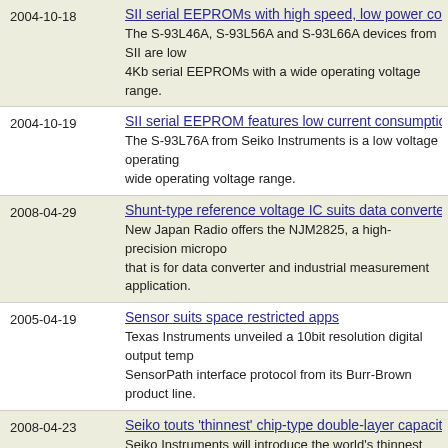2004-10-18 | SII serial EEPROMs with high speed, low power consumption | The S-93L46A, S-93L56A and S-93L66A devices from SII are low 4Kb serial EEPROMs with a wide operating voltage range.
2004-10-19 | SII serial EEPROM features low current consumption | The S-93L76A from Seiko Instruments is a low voltage operating wide operating voltage range.
2008-04-29 | Shunt-type reference voltage IC suits data converter, in | New Japan Radio offers the NJM2825, a high-precision micropo that is for data converter and industrial measurement application.
2005-04-19 | Sensor suits space restricted apps | Texas Instruments unveiled a 10bit resolution digital output temp SensorPath interface protocol from its Burr-Brown product line.
2008-04-23 | Seiko touts 'thinnest' chip-type double-layer capacitor | Seiko Instruments will introduce the world's thinnest and smallest capacitor, part number CP3225A, in October.
2006-02-07 | Potentiometer suits portable electronics | Maxim Integrated Products introduced the MAX5128, a 128-tap, portable battery-powered electronics.
2013-10-28 | Performing hardware/firmware co-design (Part 1) | Know some of the best practices developers can use to boost the focuses on event notification.